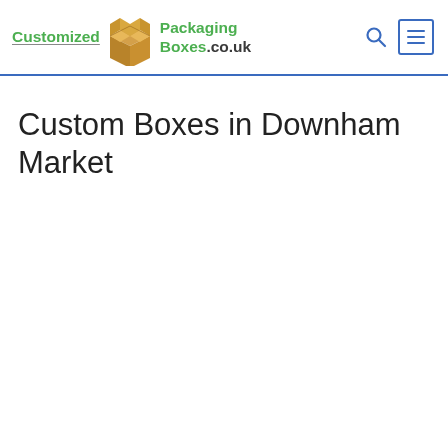[Figure (logo): Customized Packaging Boxes .co.uk logo with cardboard box illustration and green text]
Custom Boxes in Downham Market